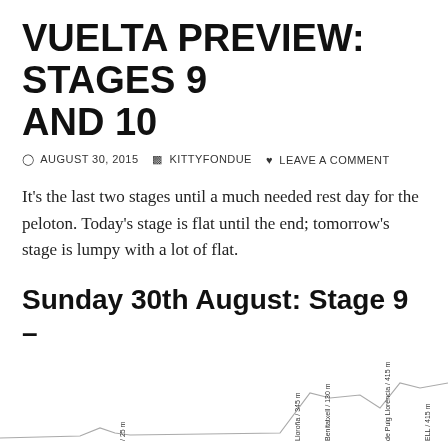VUELTA PREVIEW: STAGES 9 AND 10
AUGUST 30, 2015   KITTYFONDUE   LEAVE A COMMENT
It's the last two stages until a much needed rest day for the peloton. Today's stage is flat until the end; tomorrow's stage is lumpy with a lot of flat.
Sunday 30th August: Stage 9 – Torrevieja to Cumbre del Sol. Benitatxell 168.3km, medium mountains
[Figure (other): Elevation profile chart for Stage 9 showing mountain labels and heights, partially visible at bottom of page]